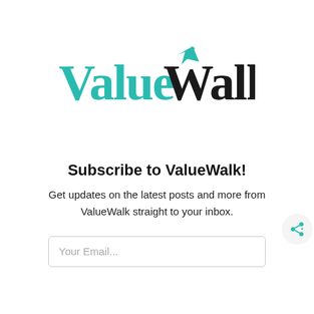[Figure (logo): ValueWalk logo — 'Value' in teal/dark teal serif font and 'Walk' in black serif font with a teal upward arrow on the W]
Subscribe to ValueWalk!
Get updates on the latest posts and more from ValueWalk straight to your inbox.